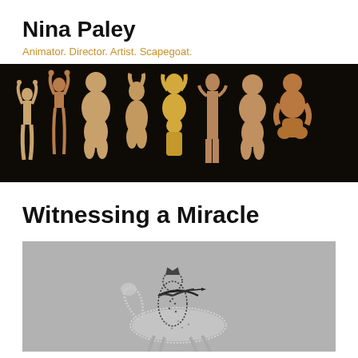Nina Paley
Animator. Director. Artist. Scapegoat.
[Figure (photo): A horizontal banner showing a row of ancient goddess figurines and statuettes against a black background, ranging from paleolithic Venus figures to terracotta statuettes.]
Witnessing a Miracle
[Figure (illustration): Partial view of a gray-background illustration showing a stylized archer on horseback rendered in a dotted/stippled black and white style, reminiscent of ancient Near Eastern art.]